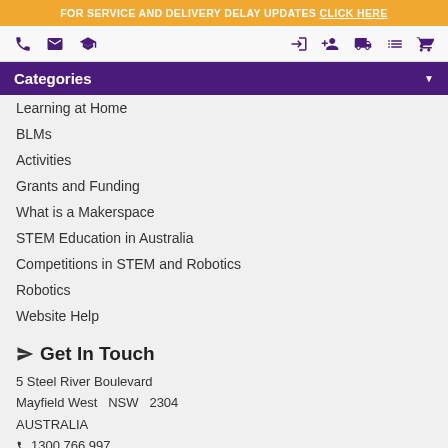FOR SERVICE AND DELIVERY DELAY UPDATES CLICK HERE
[Figure (screenshot): Top navigation bar with phone, email, graduation cap icons on left; login, add user, truck, list, cart icons on right]
Categories
Learning at Home
BLMs
Activities
Grants and Funding
What is a Makerspace
STEM Education in Australia
Competitions in STEM and Robotics
Robotics
Website Help
Get In Touch
5 Steel River Boulevard
Mayfield West  NSW  2304
AUSTRALIA
📞1300 766 997
ABN: 32 087 735 966
Find my Account Manager